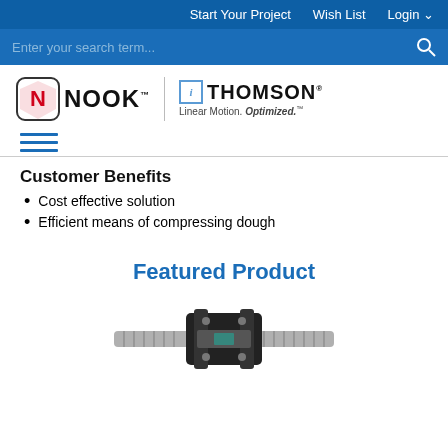Start Your Project   Wish List   Login
Enter your search term...
[Figure (logo): Nook Industries logo combined with Thomson Linear Motion. Optimized. logo]
[Figure (other): Hamburger menu icon with three horizontal blue lines]
Customer Benefits
Cost effective solution
Efficient means of compressing dough
Featured Product
[Figure (photo): Image of a lead screw or ball screw product with a black flange nut assembly]